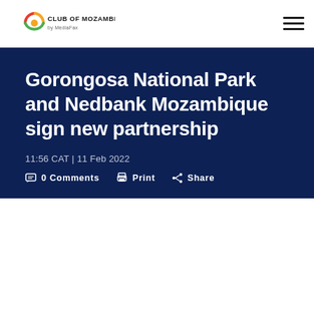Club of Mozambique by MediaFax
Gorongosa National Park and Nedbank Mozambique sign new partnership
11:56 CAT | 11 Feb 2022
0 Comments   Print   Share